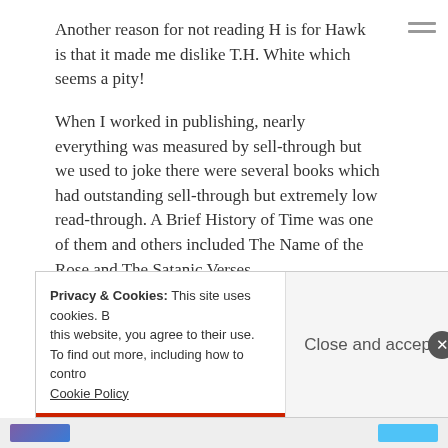Another reason for not reading H is for Hawk is that it made me dislike T.H. White which seems a pity!
When I worked in publishing, nearly everything was measured by sell-through but we used to joke there were several books which had outstanding sell-through but extremely low read-through. A Brief History of Time was one of them and others included The Name of the Rose and The Satanic Verses.
★ Like
Privacy & Cookies: This site uses cookies. By continuing to use this website, you agree to their use. To find out more, including how to control cookies, see here: Cookie Policy   Close and accept